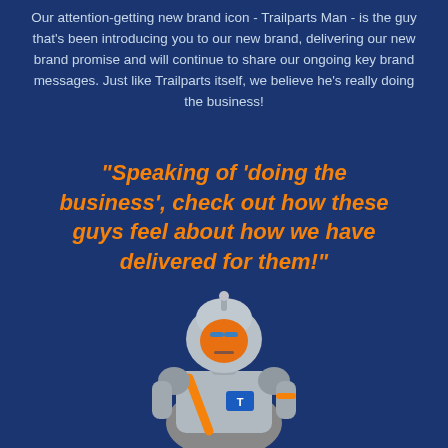Our attention-getting new brand icon - Trailparts Man - is the guy that's been introducing you to our new brand, delivering our new brand promise and will continue to share our ongoing key brand messages. Just like Trailparts itself, we believe he's really doing the business!
"Speaking of ‘doing the business’, check out how these guys feel about how we have delivered for them!"
[Figure (illustration): A metallic robot character (Trailparts Man) with orange and blue accents, chrome body, visible from waist up, looking slightly to the side.]